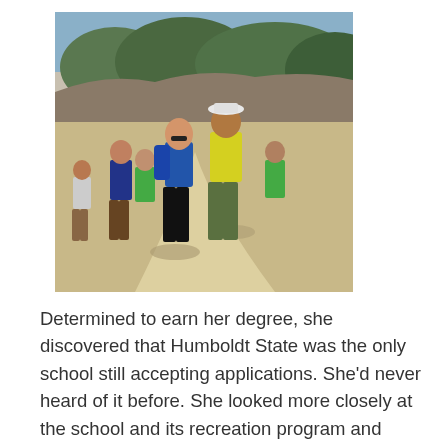[Figure (photo): Group of people in t-shirts walking on a dirt trail with trees and hills in the background. Two people in the foreground wear blue and yellow shirts with a logo, likely a Latino outdoors organization.]
Determined to earn her degree, she discovered that Humboldt State was the only school still accepting applications. She'd never heard of it before. She looked more closely at the school and its recreation program and thought, "This place is amazing." But when she submitted her application, she received an error message. She